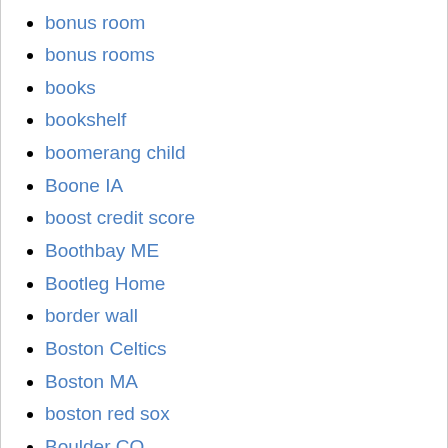bonus room
bonus rooms
books
bookshelf
boomerang child
Boone IA
boost credit score
Boothbay ME
Bootleg Home
border wall
Boston Celtics
Boston MA
boston red sox
Boulder CO
bowling alley
Bowling Green KY
boxer
Boxing
Bozeman MT